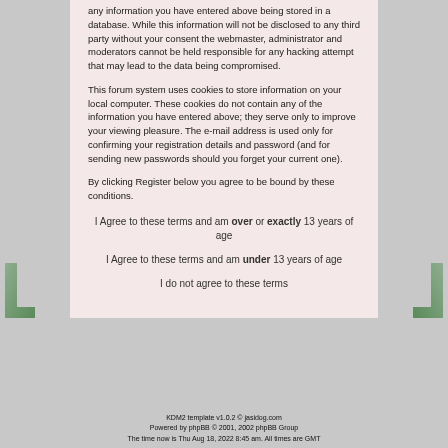any information you have entered above being stored in a database. While this information will not be disclosed to any third party without your consent the webmaster, administrator and moderators cannot be held responsible for any hacking attempt that may lead to the data being compromised.
This forum system uses cookies to store information on your local computer. These cookies do not contain any of the information you have entered above; they serve only to improve your viewing pleasure. The e-mail address is used only for confirming your registration details and password (and for sending new passwords should you forget your current one).
By clicking Register below you agree to be bound by these conditions.
I Agree to these terms and am over or exactly 13 years of age
I Agree to these terms and am under 13 years of age
I do not agree to these terms
KDM2 template v1.0.2 © jasidog.com
Powered by phpBB © 2001, 2002 phpBB Group
The time now is Thu Aug 18, 2022 8:45 am. All times are GMT